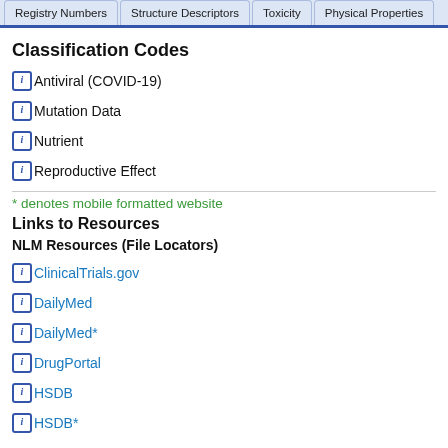Registry Numbers | Structure Descriptors | Toxicity | Physical Properties
Classification Codes
Antiviral (COVID-19)
Mutation Data
Nutrient
Reproductive Effect
* denotes mobile formatted website
Links to Resources
NLM Resources (File Locators)
ClinicalTrials.gov
DailyMed
DailyMed*
DrugPortal
HSDB
HSDB*